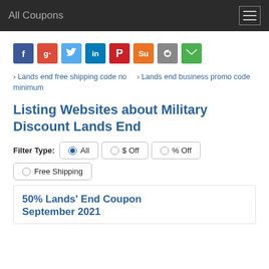All Coupons
[Figure (infographic): Social sharing icon buttons: Facebook, Google+, Twitter, LinkedIn, Pinterest, StumbleUpon, Reddit, Email]
› Lands end free shipping code no minimum
› Lands end business promo code
Listing Websites about Military Discount Lands End
Filter Type: All  $ Off  % Off  Free Shipping
50% Lands' End Coupon September 2021